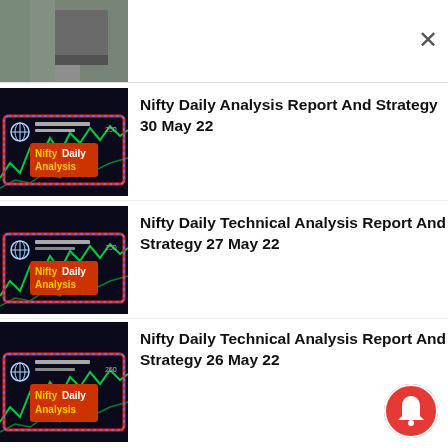[Figure (screenshot): Partial thumbnail of a video at top, partially cropped, with a close (X) button on the right]
[Figure (screenshot): Thumbnail image for 'Nifty Daily Analysis' video report dated 30 May 22, showing dark background with green chart lines and 'Nifty Daily Analysis' text]
Nifty Daily Analysis Report And Strategy 30 May 22
[Figure (screenshot): Thumbnail image for 'Nifty Daily Technical Analysis' video report dated 27 May 22]
Nifty Daily Technical Analysis Report And Strategy 27 May 22
[Figure (screenshot): Thumbnail image for 'Nifty Daily Technical Analysis' video report dated 26 May 22]
Nifty Daily Technical Analysis Report And Strategy 26 May 22